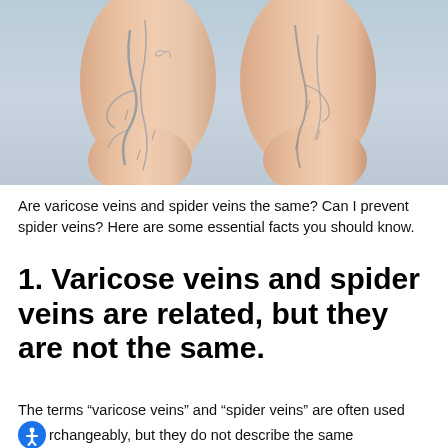[Figure (photo): Photo of two human legs (lower legs/calves) showing visible varicose and spider veins against a light blue-grey background]
Are varicose veins and spider veins the same? Can I prevent spider veins? Here are some essential facts you should know.
1. Varicose veins and spider veins are related, but they are not the same.
The terms “varicose veins” and “spider veins” are often used interchangeably, but they do not describe the same condition. Varicose veins are large, knotted, raised vessels